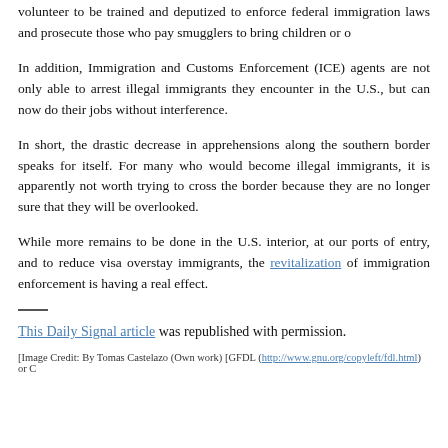volunteer to be trained and deputized to enforce federal immigration laws and prosecute those who pay smugglers to bring children or others across.
In addition, Immigration and Customs Enforcement (ICE) agents are not only able to arrest illegal immigrants they encounter in the U.S., but can now do their jobs without interference.
In short, the drastic decrease in apprehensions along the southern border speaks for itself. For many who would become illegal immigrants, it is apparently not worth trying to cross the border because they are no longer sure that they will be overlooked.
While more remains to be done in the U.S. interior, at our ports of entry, and to reduce visa overstay immigrants, the revitalization of immigration enforcement is having a real effect.
This Daily Signal article was republished with permission.
[Image Credit: By Tomas Castelazo (Own work) [GFDL (http://www.gnu.org/copyleft/fdl.html) or C